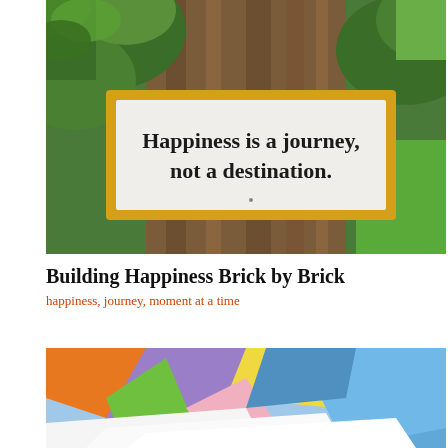[Figure (photo): Outdoor photo of a framed sign reading 'Happiness is a journey, not a destination.' mounted against a tree trunk, surrounded by green leaves and foliage with bright natural light.]
Building Happiness Brick by Brick
happiness, journey, moment at a time
[Figure (photo): Colorful paper shapes (orange, purple, green, yellow, pink, blue) arranged in an overlapping mosaic pattern, with some white paper sheets in the foreground.]